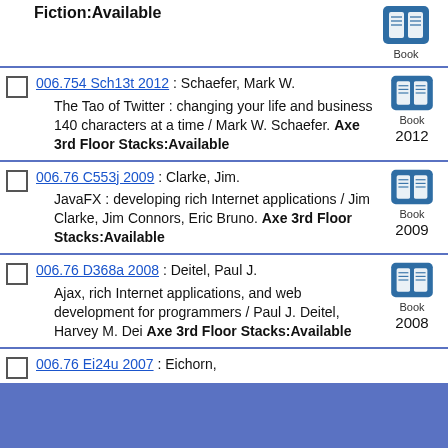Fiction:Available
006.754 Sch13t 2012 : Schaefer, Mark W. — The Tao of Twitter : changing your life and business 140 characters at a time / Mark W. Schaefer. Axe 3rd Floor Stacks:Available — Book 2012
006.76 C553j 2009 : Clarke, Jim. — JavaFX : developing rich Internet applications / Jim Clarke, Jim Connors, Eric Bruno. Axe 3rd Floor Stacks:Available — Book 2009
006.76 D368a 2008 : Deitel, Paul J. — Ajax, rich Internet applications, and web development for programmers / Paul J. Deitel, Harvey M. Dei Axe 3rd Floor Stacks:Available — Book 2008
006.76 Ei24u 2007 : Eichorn,